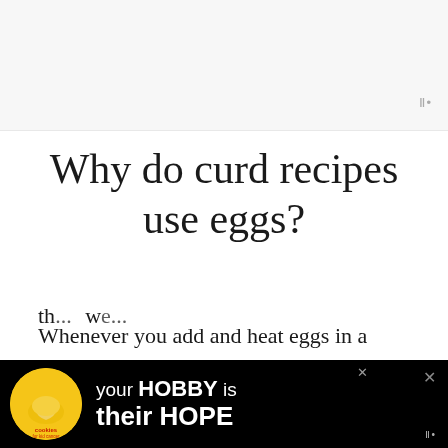Why do curd recipes use eggs?
Whenever you add and heat eggs in a recipe, those eggs become a thickener. This rule works for most anything. Anytime you’ve eaten pudding, you’ve, more than likely, eaten a liquid th... we...
[Figure (photo): Advertisement banner: cookies for kid cancer logo with yellow heart cookie, text 'your HOBBY is their HOPE' on black background with close buttons]